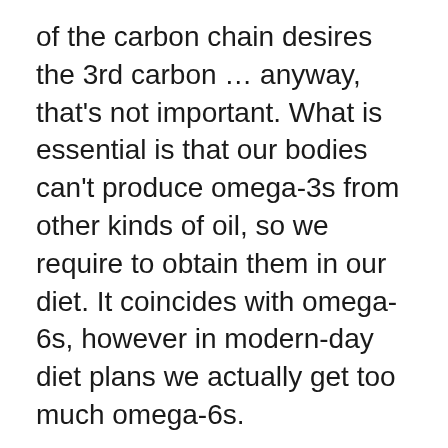of the carbon chain desires the 3rd carbon … anyway, that's not important. What is essential is that our bodies can't produce omega-3s from other kinds of oil, so we require to obtain them in our diet. It coincides with omega-6s, however in modern-day diet plans we actually get too much omega-6s.
People in the '30s didn't realize the various type of omega-3s had various results and also utilizes in the body. It wasn't up until the late 70's that an organization was made between a whole bunch of healthy individuals and two omega-3s you can just get from seafood: EPA and also DHA.
Nowadays nutritionists as well as insurance